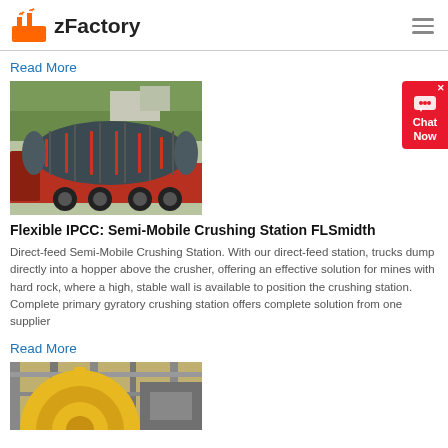zFactory
Read More
[Figure (photo): Large industrial ball mill loaded on a red flatbed truck, outdoors with trees and buildings in background]
Flexible IPCC: Semi-Mobile Crushing Station FLSmidth
Direct-feed Semi-Mobile Crushing Station. With our direct-feed station, trucks dump directly into a hopper above the crusher, offering an effective solution for mines with hard rock, where a high, stable wall is available to position the crushing station. Complete primary gyratory crushing station offers complete solution from one supplier
Read More
[Figure (photo): Large yellow and grey industrial machinery, partially visible, in a factory or mining facility setting]